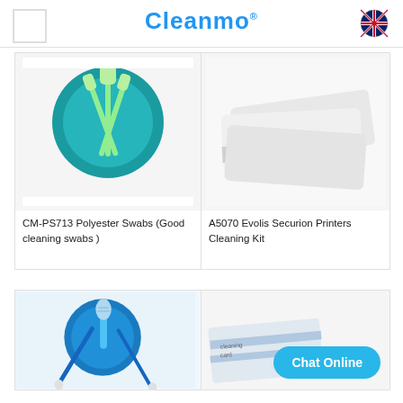Cleanmo® (logo with UK flag)
[Figure (photo): CM-PS713 Polyester Swabs product image showing green-handled polyester swabs with flat foam/polyester tips against a teal/blue circular background]
CM-PS713 Polyester Swabs (Good cleaning swabs )
[Figure (photo): A5070 Evolis Securion Printers Cleaning Kit product image showing white cleaning cards stacked at an angle]
A5070 Evolis Securion Printers Cleaning Kit
[Figure (photo): Bottom-left product image showing blue-handled cotton swabs with white tips against a blue circular background]
[Figure (photo): Bottom-right product image showing a cleaning card product partially visible]
Chat Online